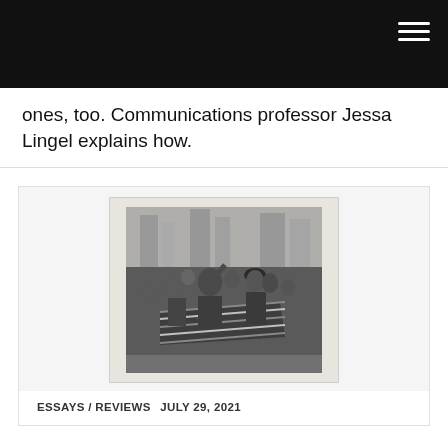ones, too. Communications professor Jessa Lingel explains how.
[Figure (photo): Black and white photograph of a group of people marching in a parade or protest, holding a Cuban flag with a star and stripes. People in military-style clothing and berets are visible in a crowd.]
ESSAYS / REVIEWS  JULY 29, 2021